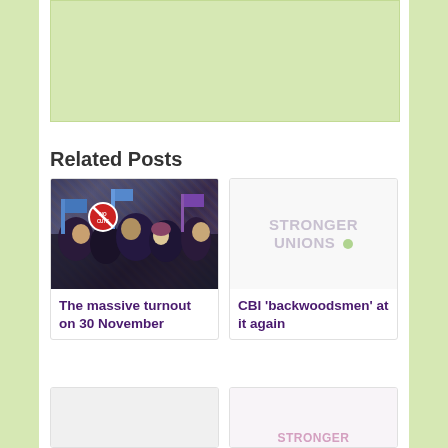[Figure (other): Light green rectangular banner/advertisement box at top of page]
Related Posts
[Figure (photo): Photo of a large crowd of protesters at a demonstration on 30 November, some holding signs including a 'No Cuts' sign]
The massive turnout on 30 November
[Figure (logo): Stronger Unions logo with text 'STRONGER UNIONS' and a green dot, shown in light muted purple/grey colors]
CBI 'backwoodsmen' at it again
[Figure (other): Partially visible card at bottom left, cut off]
[Figure (logo): Partially visible Stronger Unions logo at bottom right, cut off, showing bottom portion in pink/mauve]